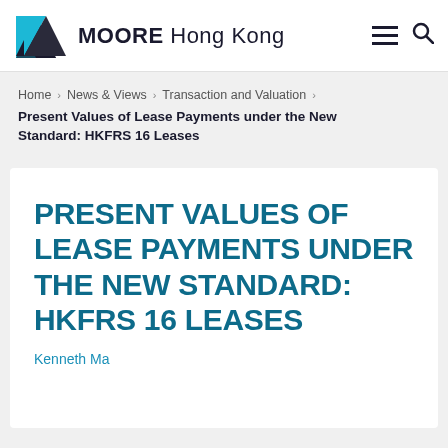MOORE Hong Kong
Home > News & Views > Transaction and Valuation
Present Values of Lease Payments under the New Standard: HKFRS 16 Leases
PRESENT VALUES OF LEASE PAYMENTS UNDER THE NEW STANDARD: HKFRS 16 LEASES
Kenneth Ma